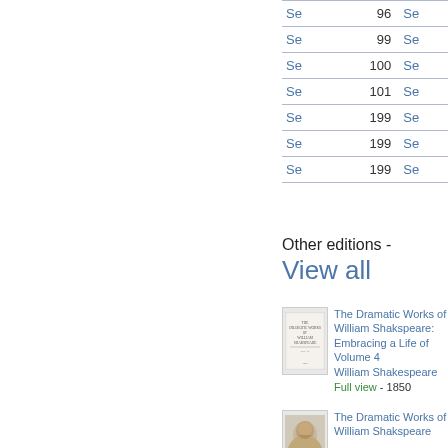| Section | Page | Section |
| --- | --- | --- |
| Se | 96 | Se |
| Se | 99 | Se |
| Se | 100 | Se |
| Se | 101 | Se |
| Se | 199 | Se |
| Se | 199 | Se |
| Se | 199 | Se |
Other editions - View all
[Figure (illustration): Thumbnail of book cover for The Dramatic Works of William Shakspeare, Volume 4]
The Dramatic Works of William Shakspeare: Embracing a Life of Volume 4 William Shakespeare Full view - 1850
[Figure (photo): Thumbnail portrait image of a woman for The Dramatic Works of William Shakspeare]
The Dramatic Works of William Shakspeare